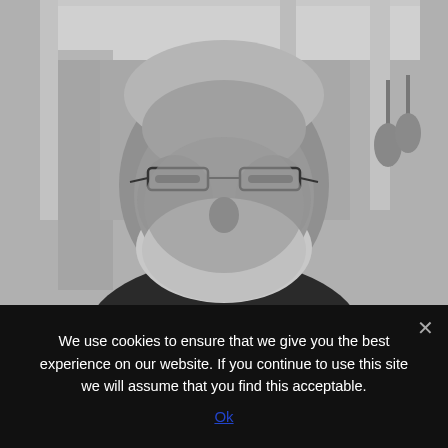[Figure (photo): Black and white photograph of a middle-aged to older man with gray hair and a gray beard, wearing glasses and a dark shirt, smiling. Background shows an outdoor patio area with columns and hanging lights.]
We use cookies to ensure that we give you the best experience on our website. If you continue to use this site we will assume that you find this acceptable.
Ok